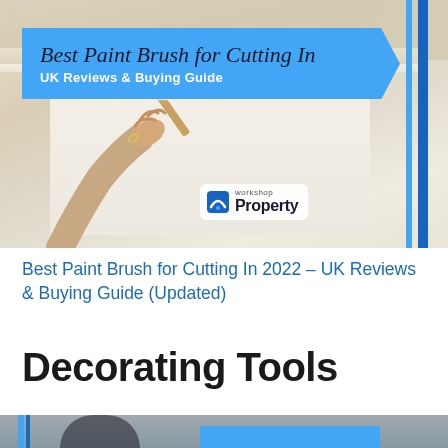[Figure (illustration): Photo of a hand using a paint brush to cut in along a ceiling/cornice, with a blue banner overlay showing the title 'Best Paint Brush for Cutting In – UK Reviews & Buying Guide', and a Property Workshop logo. Blue vertical stripes on the right side.]
Best Paint Brush for Cutting In 2022 – UK Reviews & Buying Guide (Updated)
Decorating Tools
[Figure (photo): Partial bottom image showing a person using a paint brush, with blue stripes on the left and a blue banner element visible at the bottom.]